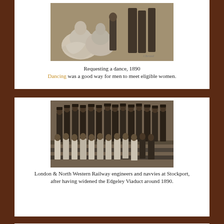[Figure (photo): Black and white photograph titled 'Requesting a dance, 1890' showing people in Victorian-era dress, women in large white ruffled dresses dancing with men.]
Requesting a dance, 1890
Dancing was a good way for men to meet eligible women.
[Figure (photo): Black and white group photograph of London & North Western Railway engineers and navvies at Stockport, after having widened the Edgeley Viaduct around 1890.]
London & North Western Railway engineers and navvies at Stockport, after having widened the Edgeley Viaduct around 1890.
[Figure (photo): Black and white photograph showing a person in front of a brick building, partially visible, from around 1890.]